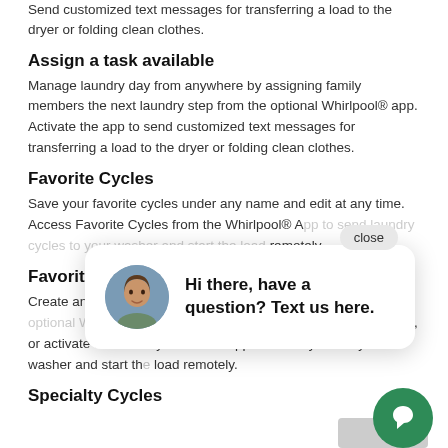Send customized text messages for transferring a load to the dryer or folding clean clothes.
Assign a task available
Manage laundry day from anywhere by assigning family members the next laundry step from the optional Whirlpool® app. Activate the app to send customized text messages for transferring a load to the dryer or folding clean clothes.
Favorite Cycles
Save your favorite cycles under any name and edit at any time. Access Favorite Cycles from the Whirlpool® App to send laundry cycles to your washer and start the load remotely.
Favorite Cy...
Create and save favorite cycles and edit at any time on the optional Whirlpool® app. Save one cycle at a time on the washer, or activate Favorite Cycles in the app to send cycles to your washer and start the load remotely.
Specialty Cycles
[Figure (other): Chat popup overlay with close button, avatar photo of a woman, text 'Hi there, have a question? Text us here.' and a green circular chat icon button]